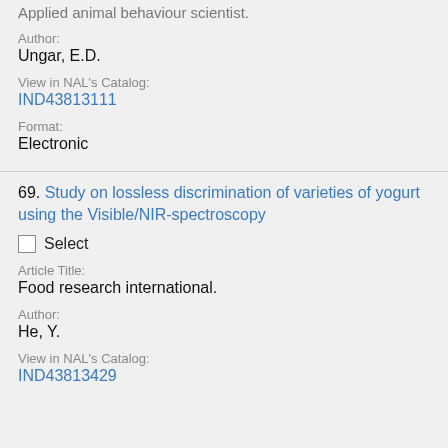Applied animal behaviour scientist.
Author:
Ungar, E.D.
View in NAL's Catalog:
IND43813111
Format:
Electronic
69. Study on lossless discrimination of varieties of yogurt using the Visible/NIR-spectroscopy
Select
Article Title:
Food research international.
Author:
He, Y.
View in NAL's Catalog:
IND43813429